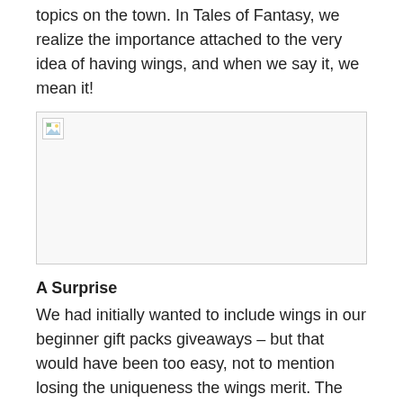topics on the town. In Tales of Fantasy, we realize the importance attached to the very idea of having wings, and when we say it, we mean it!
[Figure (photo): Broken/missing image placeholder with small image icon in top-left corner]
A Surprise
We had initially wanted to include wings in our beginner gift packs giveaways – but that would have been too easy, not to mention losing the uniqueness the wings merit. The real charm of the wings is in the